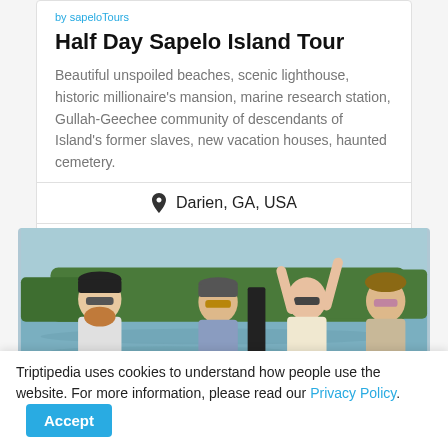by sapeloTours
Half Day Sapelo Island Tour
Beautiful unspoiled beaches, scenic lighthouse, historic millionaire's mansion, marine research station, Gullah-Geechee community of descendants of Island's former slaves, new vacation houses, haunted cemetery.
📍 Darien, GA, USA
$75 / person
[Figure (photo): Four people on a boat on a river/lake with green trees in the background, smiling and waving.]
Triptipedia uses cookies to understand how people use the website. For more information, please read our Privacy Policy.